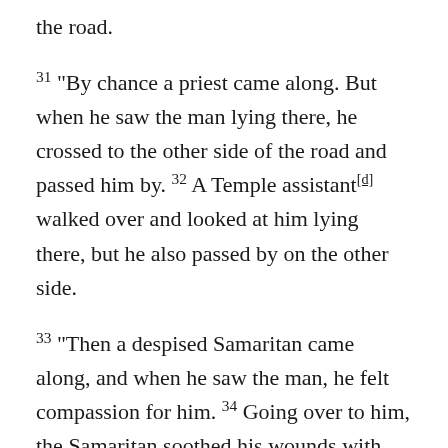the road.
31 “By chance a priest came along. But when he saw the man lying there, he crossed to the other side of the road and passed him by. 32 A Temple assistant[d] walked over and looked at him lying there, but he also passed by on the other side.
33 “Then a despised Samaritan came along, and when he saw the man, he felt compassion for him. 34 Going over to him, the Samaritan soothed his wounds with olive oil and wine and bandaged them. Then he put the man on his own donkey and took him to an inn, where he took care of him. 35 The next day he handed the innkeeper two silver